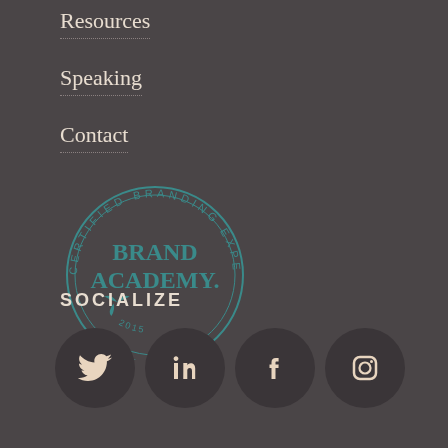Resources
Speaking
Contact
[Figure (logo): Brand Academy Certified Branding Expert 2015 circular badge logo with teal color scheme]
SOCIALIZE
[Figure (infographic): Row of four social media icons in dark circles: Twitter, LinkedIn, Facebook, Instagram]